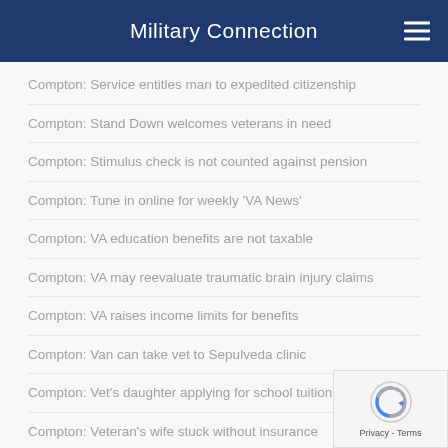Military Connection
Compton: Service entitles man to expedited citizenship
Compton: Stand Down welcomes veterans in need
Compton: Stimulus check is not counted against pension
Compton: Tune in online for weekly 'VA News'
Compton: VA education benefits are not taxable
Compton: VA may reevaluate traumatic brain injury claims
Compton: VA raises income limits for benefits
Compton: Van can take vet to Sepulveda clinic
Compton: Vet's daughter applying for school tuition fee waiver
Compton: Veteran's wife stuck without insurance
Compton: Veterans Affairs' Web site can help with benefits